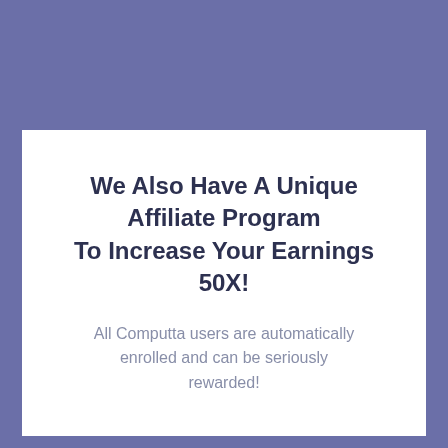We Also Have A Unique Affiliate Program To Increase Your Earnings 50X!
All Computta users are automatically enrolled and can be seriously rewarded!